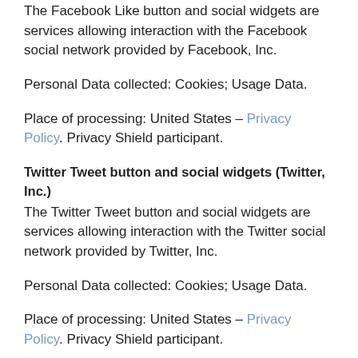The Facebook Like button and social widgets are services allowing interaction with the Facebook social network provided by Facebook, Inc.
Personal Data collected: Cookies; Usage Data.
Place of processing: United States – Privacy Policy. Privacy Shield participant.
Twitter Tweet button and social widgets (Twitter, Inc.)
The Twitter Tweet button and social widgets are services allowing interaction with the Twitter social network provided by Twitter, Inc.
Personal Data collected: Cookies; Usage Data.
Place of processing: United States – Privacy Policy. Privacy Shield participant.